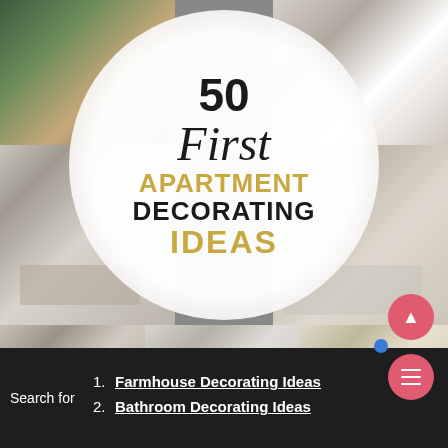[Figure (illustration): Collage of apartment interior photos arranged in a grid: top-left boho room with plants, top-right bathroom, middle-left modern living room, middle-right dining room, bottom-left living room with sofa and art wall, bottom-center minimalist room with floor lamp, bottom-right kitchen with window]
50 First APARTMENT DECORATING IDEAS
Search for
1. Farmhouse Decorating Ideas
2. Bathroom Decorating Ideas